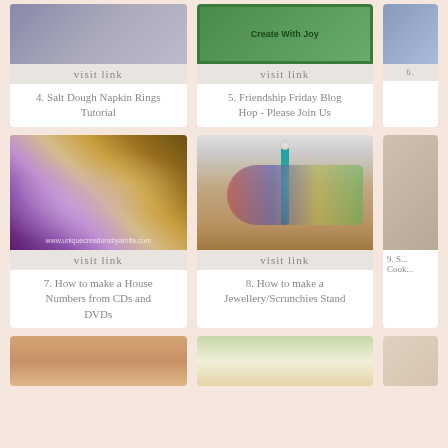[Figure (photo): Top of card 4: Salt dough napkin rings craft image (partially visible at top)]
visit link
4. Salt Dough Napkin Rings Tutorial
[Figure (photo): Top of card 5: Create With Joy green blog logo image (partially visible)]
visit link
5. Friendship Friday Blog Hop - Please Join Us
[Figure (photo): Partially visible card 6 image at top right]
[Figure (photo): Card 7: Colorful mosaic of CDs and DVDs shaped into house numbers with purple and gold tones, watermark www.uniquecreationsbyanita.com]
visit link
7. How to make a House Numbers from CDs and DVDs
[Figure (photo): Card 8: Jewellery/scrunchies stand in teal color with colorful fabric scrunchies]
visit link
8. How to make a Jewellery/Scrunchies Stand
[Figure (photo): Partially visible card 9 at right]
9. S... Cook...
[Figure (photo): Bottom card partially visible: baked food]
[Figure (photo): Bottom card partially visible: salad or noodle dish]
[Figure (photo): Bottom card partially visible at right]